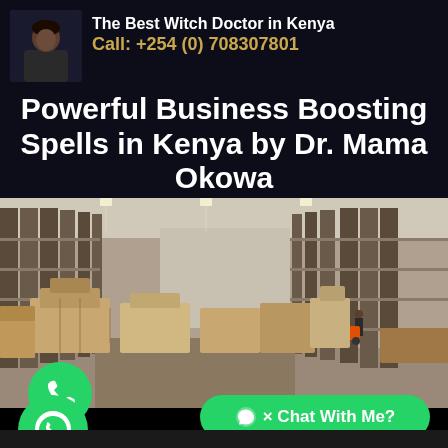[Figure (photo): Portrait photo of a person in dark clothing against dark background]
The Best Witch Doctor in Kenya
Call: +254 (0) 708307801
Powerful Business Boosting Spells in Kenya by Dr. Mama Okowa
[Figure (photo): Large warehouse interior filled with stacked pallets and goods on tall shelving racks, workers and forklifts visible in the aisles]
[Figure (infographic): Green circular phone call button icon]
[Figure (infographic): Green circular WhatsApp icon button]
× Chat With Me?